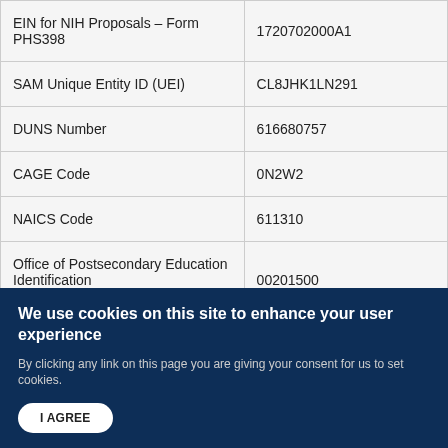| Field | Value |
| --- | --- |
| EIN for NIH Proposals – Form PHS398 | 1720702000A1 |
| SAM Unique Entity ID (UEI) | CL8JHK1LN291 |
| DUNS Number | 616680757 |
| CAGE Code | 0N2W2 |
| NAICS Code | 611310 |
| Office of Postsecondary Education Identification (OPEID) Number | 00201500 |
We use cookies on this site to enhance your user experience
By clicking any link on this page you are giving your consent for us to set cookies.
I AGREE